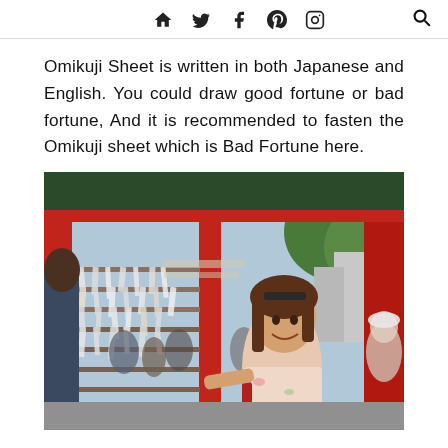[navigation icons: home, twitter, facebook, pinterest, instagram, search]
Omikuji Sheet is written in both Japanese and English. You could draw good fortune or bad fortune, And it is recommended to fasten the Omikuji sheet which is Bad Fortune here.
[Figure (photo): A young woman smiling at the camera while standing next to a rack filled with tied Omikuji fortune slips at a Japanese shrine (Sensoji temple area). She is wearing a floral dress and carrying a red backpack. Red shrine pillars and a green tree are visible in the background, along with other visitors.]